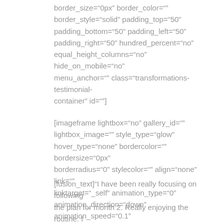border_size="0px" border_color="" border_style="solid" padding_top="50" padding_bottom="50" padding_left="50" padding_right="50" hundred_percent="no" equal_height_columns="no" hide_on_mobile="no" menu_anchor="" class="transformations-testimonial-container" id=""]
[imageframe lightbox="no" gallery_id="" lightbox_image="" style_type="glow" hover_type="none" bordercolor="" bordersize="0px" borderradius="0" stylecolor="" align="none" link="" linktarget="_self" animation_type="0" animation_direction="down" animation_speed="0.1" animation_offset="" hide_on_mobile="no" class="" id=""] [/imageframe]
[fusion_text]"I have been really focusing on following the plan for month 2. Really enjoying the routine. I wasn't sure if I would see much more results in the maintenance phase but I can start to feel and see my